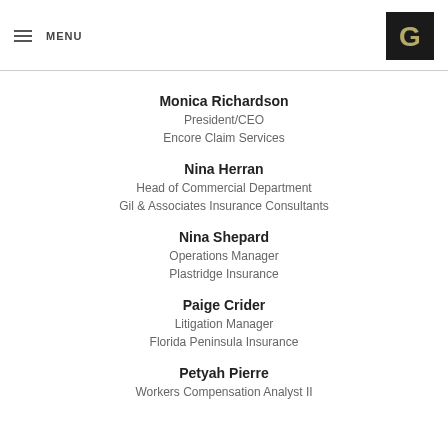MENU
Monica Richardson
President/CEO
Encore Claim Services
Nina Herran
Head of Commercial Department
Gil & Associates Insurance Consultants
Nina Shepard
Operations Manager
Plastridge Insurance
Paige Crider
Litigation Manager
Florida Peninsula Insurance
Petyah Pierre
Workers Compensation Analyst II